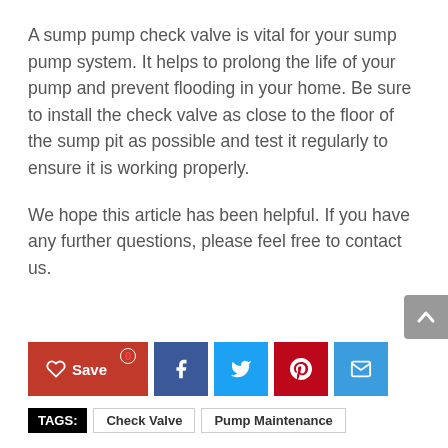A sump pump check valve is vital for your sump pump system. It helps to prolong the life of your pump and prevent flooding in your home. Be sure to install the check valve as close to the floor of the sump pit as possible and test it regularly to ensure it is working properly.
We hope this article has been helpful. If you have any further questions, please feel free to contact us.
[Figure (other): Social share buttons: Save (heart icon with red background), Facebook (dark blue), Twitter (light blue), Pinterest (red), Email (blue)]
TAGS: Check Valve  Pump Maintenance